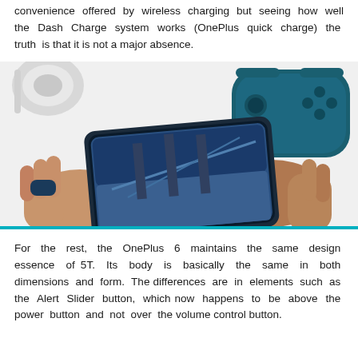convenience offered by wireless charging but seeing how well the Dash Charge system works (OnePlus quick charge) the truth is that it is not a major absence.
[Figure (photo): Hands holding a OnePlus smartphone horizontally while playing a mobile game, with a gaming controller and headphones visible in the background on a white surface.]
For the rest, the OnePlus 6 maintains the same design essence of 5T. Its body is basically the same in both dimensions and form. The differences are in elements such as the Alert Slider button, which now happens to be above the power button and not over the volume control button.